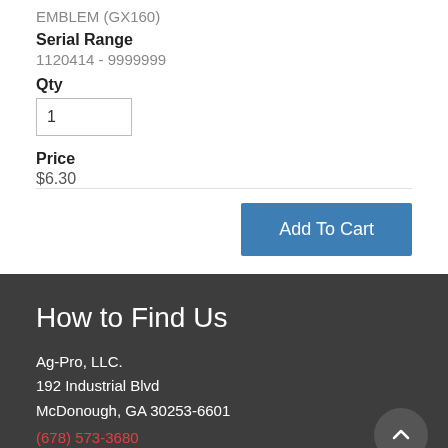EMBLEM (GX160)
Serial Range
1120414 - 9999999
Qty
Price
$6.30
Add To Cart
How to Find Us
Ag-Pro, LLC.
192 Industrial Blvd
McDonough, GA 30253-6601
(678) 573-3680